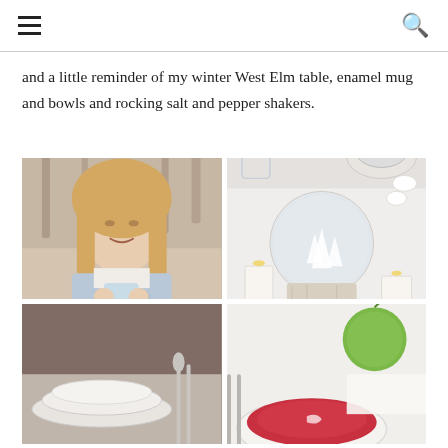hamburger menu | search icon
and a little reminder of my winter West Elm table, enamel mug and bowls and rocking salt and pepper shakers.
[Figure (photo): Young blonde girl smiling outdoors in winter, holding a light blue enamel mug, wrapped in a grey-blue blanket]
[Figure (photo): Winter table setting with a snow globe on birch wood base, white dishes, candles, and white ceramic bird figurines]
[Figure (photo): Close-up of a table setting with stacked white plates and cutlery on a dark background]
[Figure (photo): Bowl of red soup with a green apple and cutlery on the side, on a white surface]